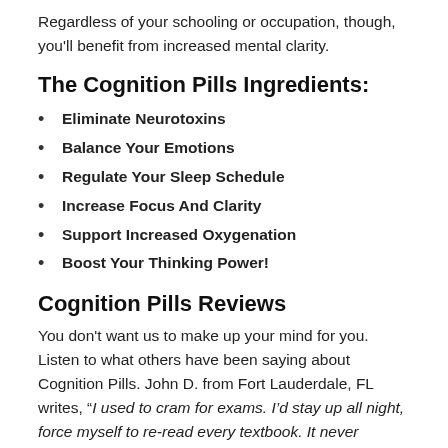Regardless of your schooling or occupation, though, you'll benefit from increased mental clarity.
The Cognition Pills Ingredients:
Eliminate Neurotoxins
Balance Your Emotions
Regulate Your Sleep Schedule
Increase Focus And Clarity
Support Increased Oxygenation
Boost Your Thinking Power!
Cognition Pills Reviews
You don't want us to make up your mind for you. Listen to what others have been saying about Cognition Pills. John D. from Fort Lauderdale, FL writes, “I used to cram for exams. I’d stay up all night, force myself to re-read every textbook. It never worked. I know the class material, but somehow when I’m nervous